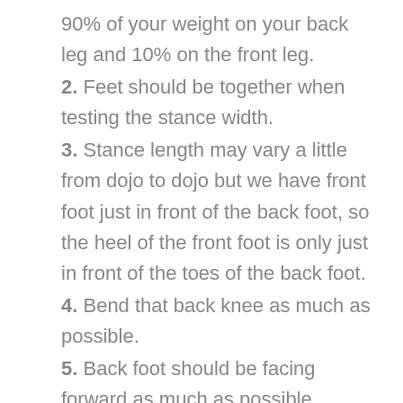90% of your weight on your back leg and 10% on the front leg.
2. Feet should be together when testing the stance width.
3. Stance length may vary a little from dojo to dojo but we have front foot just in front of the back foot, so the heel of the front foot is only just in front of the toes of the back foot.
4. Bend that back knee as much as possible.
5. Back foot should be facing forward as much as possible.
6. Front foot should be facing forward with heel up.
7. Roll the hips up and try not to let your hips stick out.